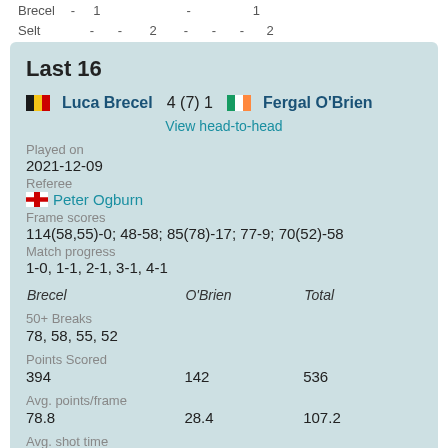| Brecel |  |  |  |  |  |  |
| --- | --- | --- | --- | --- | --- | --- |
| Selt | - | - | 2 | - | - | - | 2 |
Last 16
🇧🇪 Luca Brecel  4 (7) 1  🇮🇪 Fergal O'Brien
View head-to-head
Played on
2021-12-09
Referee
🏴󠁧󠁢󠁥󠁮󠁧󠁿 Peter Ogburn
Frame scores
114(58,55)-0; 48-58; 85(78)-17; 77-9; 70(52)-58
Match progress
1-0, 1-1, 2-1, 3-1, 4-1
| Brecel | O'Brien | Total |
| --- | --- | --- |
| 50+ Breaks |  |  |
| 78, 58, 55, 52 |  |  |
| Points Scored |  |  |
| 394 | 142 | 536 |
| Avg. points/frame |  |  |
| 78.8 | 28.4 | 107.2 |
| Avg. shot time |  |  |